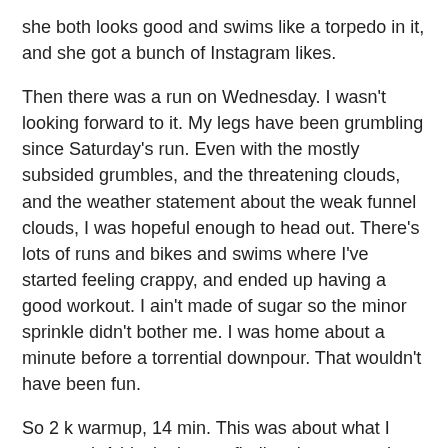she both looks good and swims like a torpedo in it, and she got a bunch of Instagram likes.
Then there was a run on Wednesday. I wasn't looking forward to it. My legs have been grumbling since Saturday's run. Even with the mostly subsided grumbles, and the threatening clouds, and the weather statement about the weak funnel clouds, I was hopeful enough to head out. There's lots of runs and bikes and swims where I've started feeling crappy, and ended up having a good workout. I ain't made of sugar so the minor sprinkle didn't bother me. I was home about a minute before a torrential downpour. That wouldn't have been fun.
So 2 k warmup, 14 min. This was about what I expected. A bit clunky, not finding the groove, but gradually feeling better. 6K tempo tracked as 3 x 2K, 39:49 overall. This surprised me. As soon as I picked up the pace my legs were happier and I ran better. These were pretty consistent, 6:36, 6:38 and 6:41 pace per K over each of the 2 K segments. Breathing was fine. My legs didn't want to go any faster, but would have gone further. This actually felt pretty good, better than I